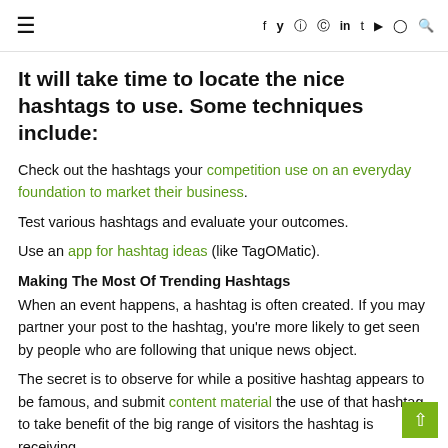≡  f  𝕏  ◎  𝒫  in  t  ▶  ⊙  🔍
It will take time to locate the nice hashtags to use. Some techniques include:
Check out the hashtags your competition use on an everyday foundation to market their business.
Test various hashtags and evaluate your outcomes.
Use an app for hashtag ideas (like TagOMatic).
Making The Most Of Trending Hashtags
When an event happens, a hashtag is often created. If you may partner your post to the hashtag, you're more likely to get seen by people who are following that unique news object.
The secret is to observe for while a positive hashtag appears to be famous, and submit content material the use of that hashtag to take benefit of the big range of visitors the hashtag is receiving.
In the Instagram seek engine, search for different hashtags which